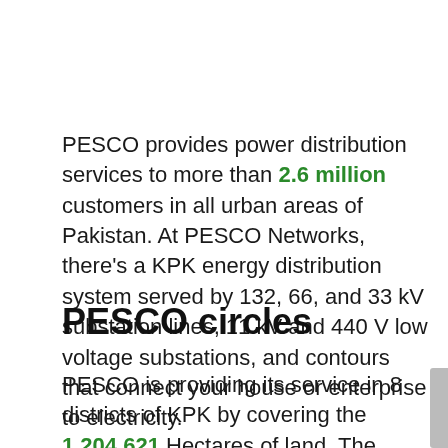PESCO provides power distribution services to more than 2.6 million customers in all urban areas of Pakistan. At PESCO Networks, there's a KPK energy distribution system served by 132, 66, and 33 kV substation lines, 11 kV and 440 V low voltage substations, and contours that connect your house or enterprise to electricity.
PESCO circles
PESCO is providing its service in 8 districts of KPK by covering the 1,204,621 Hectares of land. The circle which is under the PESCO is